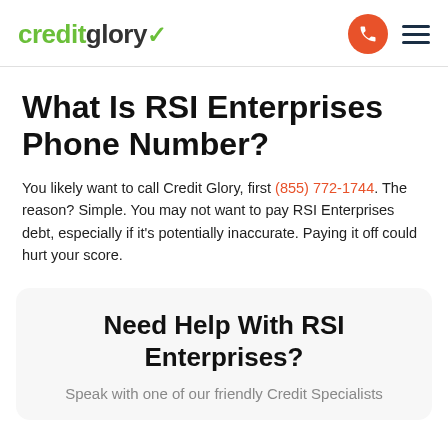creditglory
What Is RSI Enterprises Phone Number?
You likely want to call Credit Glory, first (855) 772-1744. The reason? Simple. You may not want to pay RSI Enterprises debt, especially if it's potentially inaccurate. Paying it off could hurt your score.
Need Help With RSI Enterprises?
Speak with one of our friendly Credit Specialists